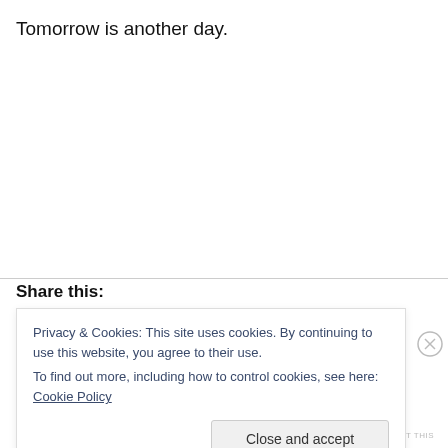Tomorrow is another day.
Share this:
Privacy & Cookies: This site uses cookies. By continuing to use this website, you agree to their use.
To find out more, including how to control cookies, see here: Cookie Policy
Close and accept